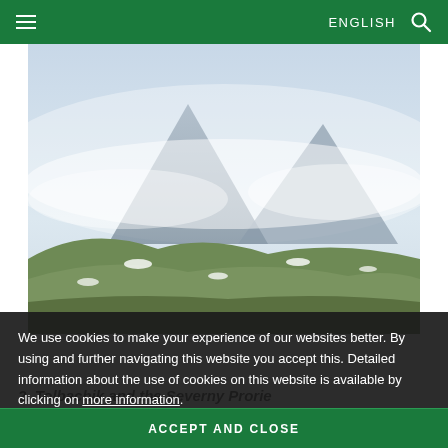≡  ENGLISH 🔍
[Figure (photo): Misty volcanic mountain landscape with snow patches on green hillside, two prominent peaks visible through clouds/fog]
We use cookies to make your experience of our websites better. By using and further navigating this website you accept this. Detailed information about the use of cookies on this website is available by clicking on more information.
ACCEPT AND CLOSE
2. Tolbachik and the Severny Prorie